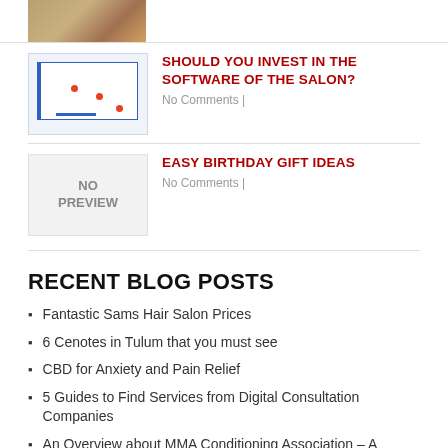[Figure (photo): Partial image of a textured golden/brown surface at the top of the page]
SHOULD YOU INVEST IN THE SOFTWARE OF THE SALON?
No Comments |
EASY BIRTHDAY GIFT IDEAS
No Comments |
RECENT BLOG POSTS
Fantastic Sams Hair Salon Prices
6 Cenotes in Tulum that you must see
CBD for Anxiety and Pain Relief
5 Guides to Find Services from Digital Consultation Companies
An Overview about MMA Conditioning Association – A National Sports Training Association